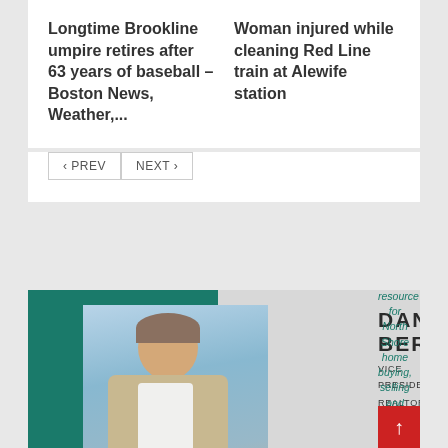Longtime Brookline umpire retires after 63 years of baseball – Boston News, Weather,...
Woman injured while cleaning Red Line train at Alewife station
< PREV   NEXT >
[Figure (photo): Advertisement for Dan Bernal, Vice President Realtor at J Barrett & Company. Shows a man in a beige blazer standing outdoors near water. Green sidebar on left. Text: DAN BERNAL, VICE PRESIDENT, REALTOR®, J BARRETT & COMPANY, DIRECT: 617.275.3291, DAN@DANBERNAL.COM. Tagline: Your one stop resource for North Shore home buying, selling and investing]